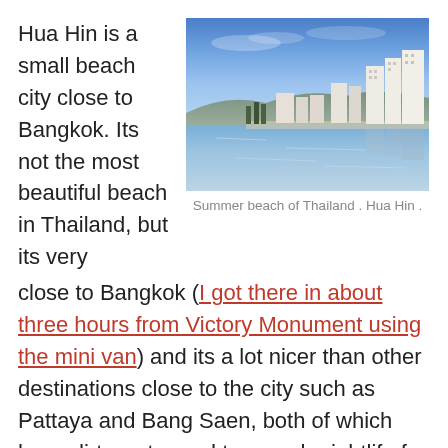Hua Hin is a small beach city close to Bangkok. Its not the most beautiful beach in Thailand, but its very
[Figure (photo): Coastal view of Hua Hin beach city with blue sky, calm sea water, and white high-rise buildings along the shoreline with hills in the background.]
Summer beach of Thailand . Hua Hin .
close to Bangkok (I got there in about three hours from Victory Monument using the mini van) and its a lot nicer than other destinations close to the city such as Pattaya and Bang Saen, both of which have dirty water and too much nightlife for a relaxing weekend